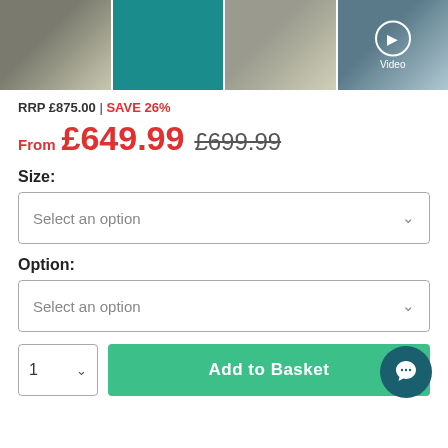[Figure (photo): Four product thumbnail images in a horizontal strip: shower enclosure photo, teal product feature infographic, shower enclosure with annotations, shower enclosure with Video overlay button]
RRP £875.00 | SAVE 26%
From £649.99 £699.99
Size:
Select an option
Option:
Select an option
1
Add to Basket